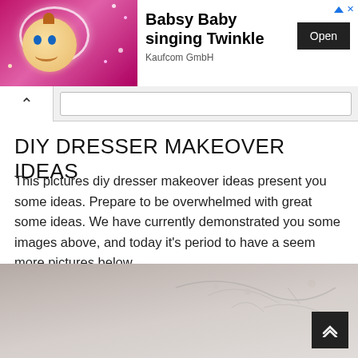[Figure (screenshot): Advertisement banner for Babsy Baby singing Twinkle app by Kaufcom GmbH, showing a cartoon baby with pink glowing background, an Open button, and ad attribution icons.]
[Figure (screenshot): Browser navigation bar with back chevron button and URL input field on a light grey background.]
DIY DRESSER MAKEOVER IDEAS
This pictures diy dresser makeover ideas present you some ideas. Prepare to be overwhelmed with great some ideas. We have currently demonstrated you some images above, and today it's period to have a seem more pictures below.
[Figure (photo): Partial photo of a dresser makeover, showing a muted mauve/grey painted surface with faint floral or branch decorative elements visible.]